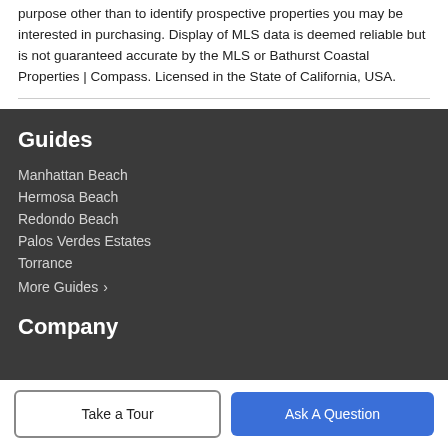purpose other than to identify prospective properties you may be interested in purchasing. Display of MLS data is deemed reliable but is not guaranteed accurate by the MLS or Bathurst Coastal Properties | Compass. Licensed in the State of California, USA.
Guides
Manhattan Beach
Hermosa Beach
Redondo Beach
Palos Verdes Estates
Torrance
More Guides ›
Company
Take a Tour
Ask A Question